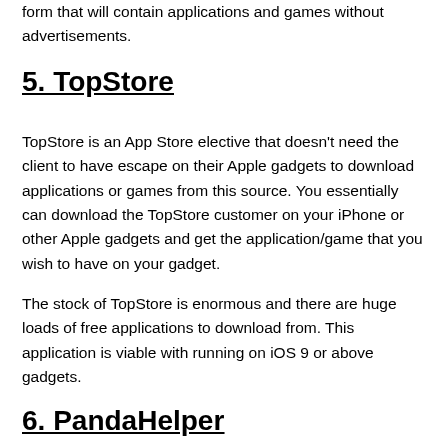form that will contain applications and games without advertisements.
5. TopStore
TopStore is an App Store elective that doesn't need the client to have escape on their Apple gadgets to download applications or games from this source. You essentially can download the TopStore customer on your iPhone or other Apple gadgets and get the application/game that you wish to have on your gadget.
The stock of TopStore is enormous and there are huge loads of free applications to download from. This application is viable with running on iOS 9 or above gadgets.
6. PandaHelper